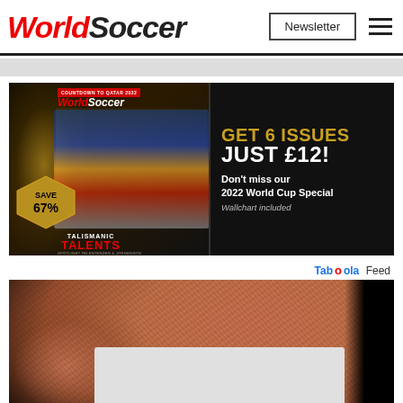WorldSoccer — Newsletter | Menu
[Figure (infographic): World Soccer magazine subscription ad: GET 6 ISSUES JUST £12! Don't miss our 2022 World Cup Special. Wallchart included. Save 67%. Talismanic Talents.]
Taboola Feed
[Figure (photo): Close-up photo of a person's face/mouth showing stubble and teeth, partially obscured by a white overlay box]